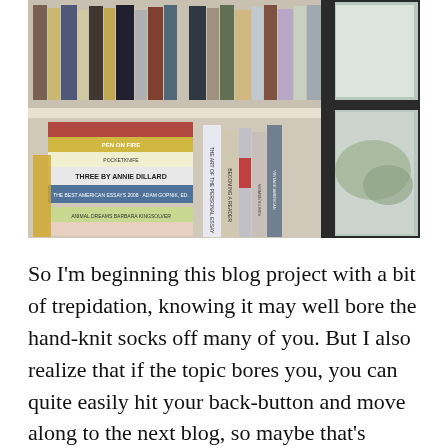[Figure (photo): Photo of a bookshelf filled with stacked and upright books including titles like 'Three by Annie Dillard', 'Pen on Fire', 'Animal Dreams' by Barbara Kingsolver, and others, with a window visible on the right side letting in natural light.]
So I'm beginning this blog project with a bit of trepidation, knowing it may well bore the hand-knit socks off many of you. But I also realize that if the topic bores you, you can quite easily hit your back-button and move along to the next blog, so maybe that's